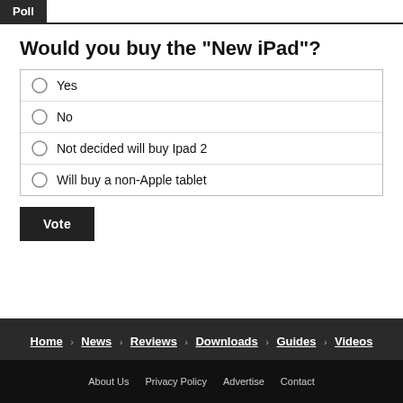Poll
Would you buy the "New iPad"?
Yes
No
Not decided will buy Ipad 2
Will buy a non-Apple tablet
Vote
Home | News | Reviews | Downloads | Guides | Videos
About Us   Privacy Policy   Advertise   Contact